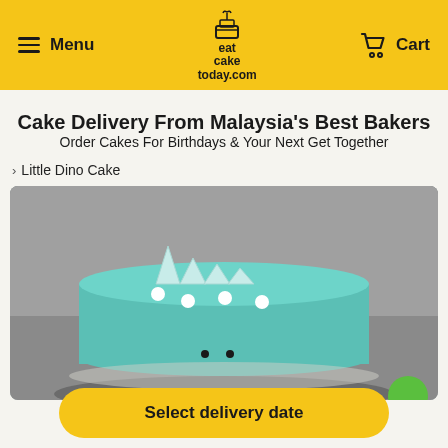Menu  eatcaketoday.com  Cart
Cake Delivery From Malaysia's Best Bakers
Order Cakes For Birthdays & Your Next Get Together
Little Dino Cake
[Figure (photo): A teal/mint frosted round birthday cake decorated with white triangular fondant spikes and white circle dots on top, photographed on a gray background. A green object is partially visible at the bottom right.]
Select delivery date